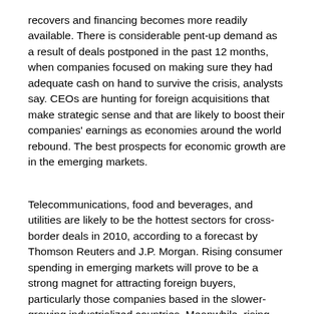recovers and financing becomes more readily available. There is considerable pent-up demand as a result of deals postponed in the past 12 months, when companies focused on making sure they had adequate cash on hand to survive the crisis, analysts say. CEOs are hunting for foreign acquisitions that make strategic sense and that are likely to boost their companies' earnings as economies around the world rebound. The best prospects for economic growth are in the emerging markets.
Telecommunications, food and beverages, and utilities are likely to be the hottest sectors for cross-border deals in 2010, according to a forecast by Thomson Reuters and J.P. Morgan. Rising consumer spending in emerging markets will prove to be a strong magnet for attracting foreign buyers, particularly those companies based in the slower-growing industrialized countries. Meanwhile, rising electricity demand and the need to develop renewable energy sources for power will prompt a surge of activity in the utility sector, aided by further